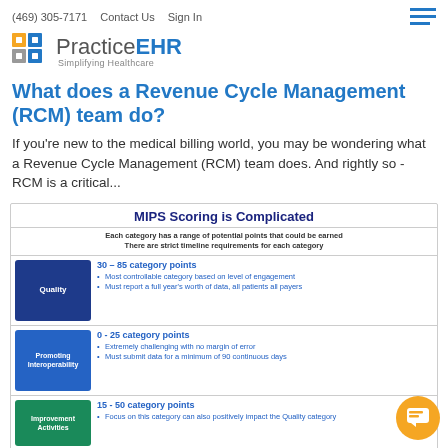(469) 305-7171   Contact Us   Sign In
[Figure (logo): PracticeEHR logo with colorful icon and tagline 'Simplifying Healthcare']
What does a Revenue Cycle Management (RCM) team do?
If you're new to the medical billing world, you may be wondering what a Revenue Cycle Management (RCM) team does. And rightly so - RCM is a critical...
[Figure (infographic): MIPS Scoring is Complicated infographic showing Quality (30-85 category points), Promoting Interoperability (0-25 category points), and Improvement Activities (15-50 category points) with bullet points for each category.]